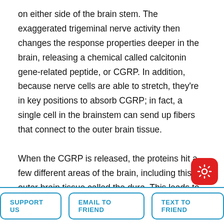on either side of the brain stem. The exaggerated trigeminal nerve activity then changes the response properties deeper in the brain, releasing a chemical called calcitonin gene-related peptide, or CGRP. In addition, because nerve cells are able to stretch, they're in key positions to absorb CGRP; in fact, a single cell in the brainstem can send up fibers that connect to the outer brain tissue.

When the CGRP is released, the proteins hit a few different areas of the brain, including this outer brain tissue called the dura. This leads to over-excited nerves and what's called neurogenic inflammation. He describes the additional biological events that lead to the pain migra…
SUPPORT US | EMAIL TO FRIEND | TEXT TO FRIEND